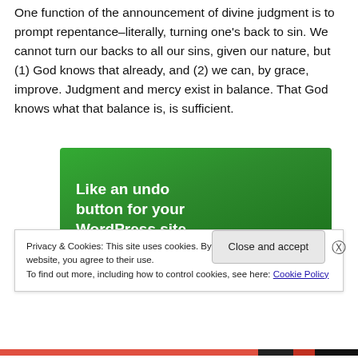One function of the announcement of divine judgment is to prompt repentance–literally, turning one's back to sin. We cannot turn our backs to all our sins, given our nature, but (1) God knows that already, and (2) we can, by grace, improve. Judgment and mercy exist in balance. That God knows what that balance is, is sufficient.
[Figure (other): Green advertisement banner with bold white text reading 'Like an undo button for your WordPress site']
Privacy & Cookies: This site uses cookies. By continuing to use this website, you agree to their use.
To find out more, including how to control cookies, see here: Cookie Policy
Close and accept